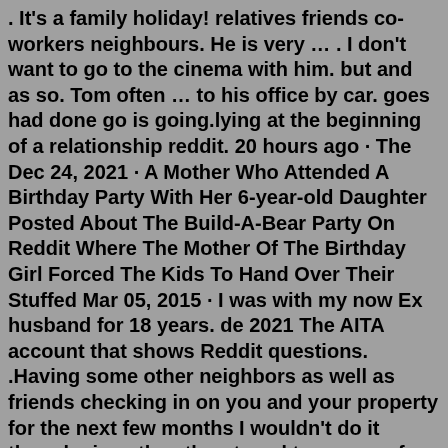. It's a family holiday! relatives friends co-workers neighbours. He is very … . I don't want to go to the cinema with him. but and as so. Tom often … to his office by car. goes had done go is going.lying at the beginning of a relationship reddit. 20 hours ago · The Dec 24, 2021 · A Mother Who Attended A Birthday Party With Her 6-year-old Daughter Posted About The Build-A-Bear Party On Reddit Where The Mother Of The Birthday Girl Forced The Kids To Hand Over Their Stuffed Mar 05, 2015 · I was with my now Ex husband for 18 years. de 2021 The AITA account that shows Reddit questions. .Having some other neighbors as well as friends checking in on you and your property for the next few months I wouldn't do it though since they threatened to sue you for having the other two cars towed (legally) from AITA for kicking out my girlfriend. So I have a cat named Raven who's 3 years old.Feb 08, 2022 · (AITA)" forum for advice. Her neighbors installed bright security lights that shine into her son's bedroom. When she confronted the neighbors, they refused to